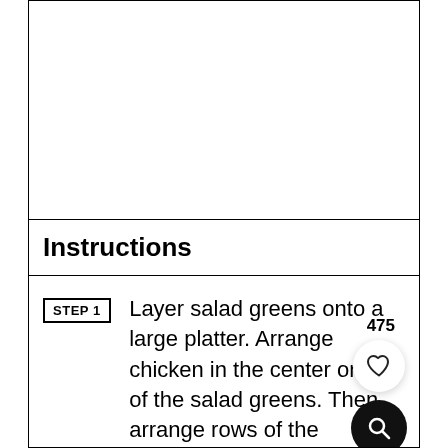[Figure (other): Empty white image/photo placeholder box with border]
Instructions
STEP 1 Layer salad greens onto a large platter. Arrange chicken in the center on top of the salad greens. Then arrange rows of the remaining ingredients on top of the salad greens. Serve with your